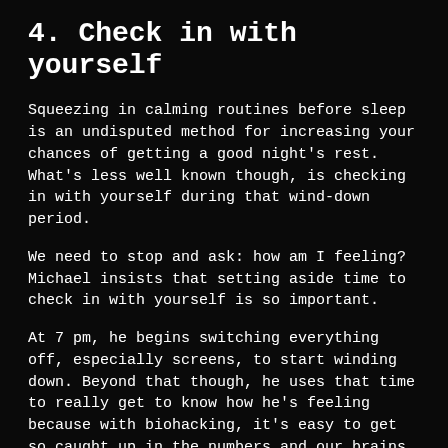4. Check in with yourself
Squeezing in calming routines before sleep is an undisputed method for increasing your chances of getting a good night's rest. What's less well known though, is checking in with yourself during that wind-down period.
We need to stop and ask: how am I feeling? Michael insists that setting aside time to check in with yourself is so important.
At 7 pm, he begins switching everything off, especially screens, to start winding down. Beyond that though, he uses that time to really get to know how he's feeling because with biohacking, it's easy to get so caught up in the numbers and our brains just really aren't wired to take in all that information.